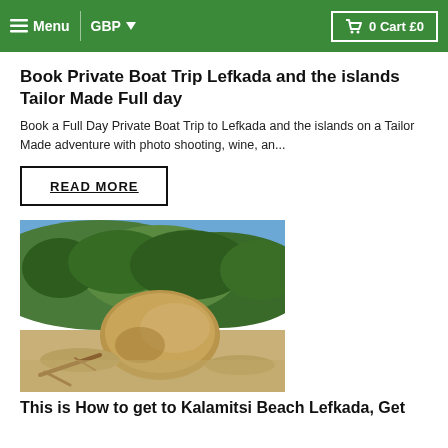Menu  GBP  0 Cart £0
Book Private Boat Trip Lefkada and the islands Tailor Made Full day
Book a Full Day Private Boat Trip to Lefkada and the islands on a Tailor Made adventure with photo shooting, wine, an...
READ MORE
[Figure (photo): Outdoor beach scene with a large boulder on sandy ground, driftwood nearby, hillside with green trees and shrubs in background, blue sky]
This is How to get to Kalamitsi Beach Lefkada, Get